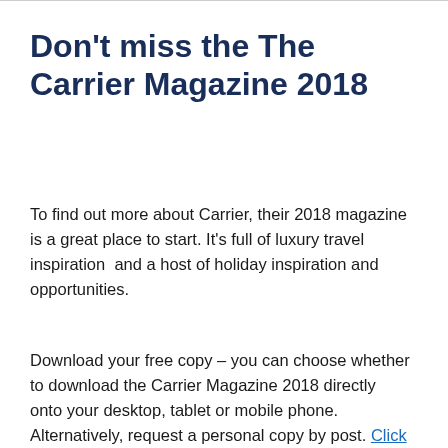Don't miss the The Carrier Magazine 2018
To find out more about Carrier, their 2018 magazine is a great place to start. It's full of luxury travel inspiration  and a host of holiday inspiration and opportunities.
Download your free copy – you can choose whether to download the Carrier Magazine 2018 directly onto your desktop, tablet or mobile phone. Alternatively, request a personal copy by post. Click here to download or order your copy. In addition, you'll also find current brochures for